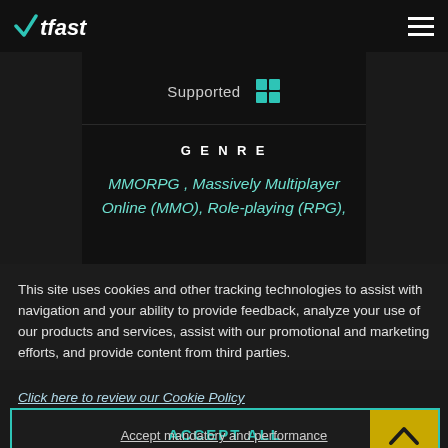WTFast
[Figure (screenshot): WTFast website screenshot showing 'Supported' with Windows icon, and GENRE section with text: MMORPG, Massively Multiplayer Online (MMO), Role-playing (RPG),]
This site uses cookies and other tracking technologies to assist with navigation and your ability to provide feedback, analyze your use of our products and services, assist with our promotional and marketing efforts, and provide content from third parties.
Click here to review our Cookie Policy
ACCEPT ALL
Accept mandatory and performance